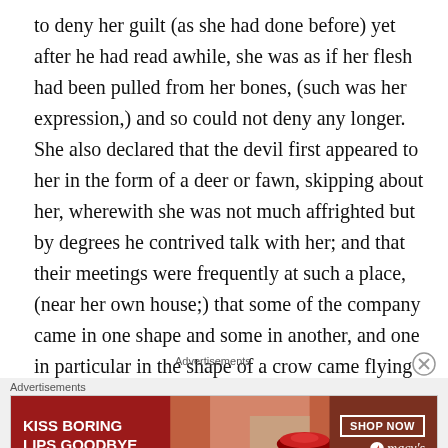to deny her guilt (as she had done before) yet after he had read awhile, she was as if her flesh had been pulled from her bones, (such was her expression,) and so could not deny any longer. She also declared that the devil first appeared to her in the form of a deer or fawn, skipping about her, wherewith she was not much affrighted but by degrees he contrived talk with her; and that their meetings were frequently at such a place, (near her own house;) that some of the company came in one shape and some in another, and one in particular in the shape of a crow came flying to them. Amongst other things she owned that the devil had frequent use of her body.'
Advertisements
[Figure (other): Advertisement banner for Macy's lip products. Red background with woman's face and lips. Text reads 'KISS BORING LIPS GOODBYE' with 'SHOP NOW' button and Macy's logo with star.]